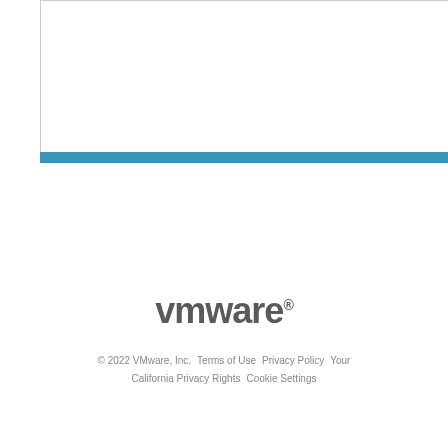[Figure (other): White rectangle with thin border and a thick blue horizontal bar at the bottom, representing a partial page/chart element]
[Figure (logo): VMware logo in gray bold sans-serif font with registered trademark symbol]
© 2022 VMware, Inc.   Terms of Use   Privacy Policy   Your California Privacy Rights   Cookie Settings